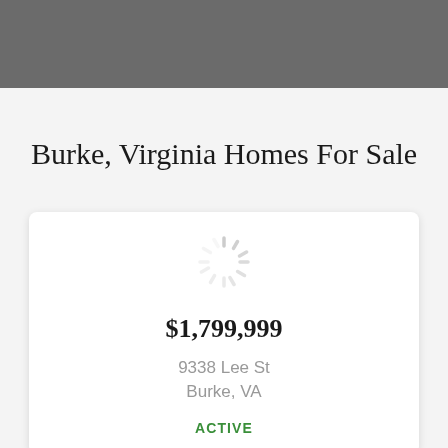[Figure (screenshot): Dark gray header bar at top of webpage]
Burke, Virginia Homes For Sale
[Figure (other): Loading spinner icon (circular dashed spinner graphic)]
$1,799,999
9338 Lee St
Burke, VA
ACTIVE